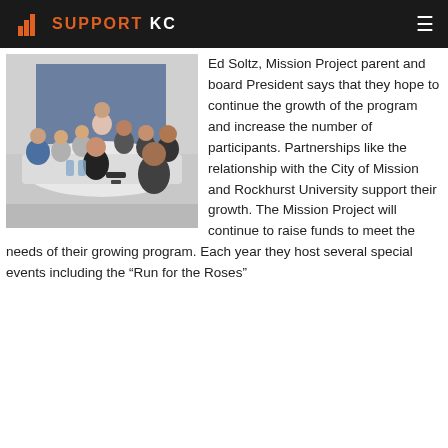SUPPORT KC
[Figure (photo): Group of people sitting around a long white conference table in a room with a blue accent wall, appearing to be in a meeting.]
Ed Soltz, Mission Project parent and board President says that they hope to continue the growth of the program and increase the number of participants. Partnerships like the relationship with the City of Mission and Rockhurst University support their growth. The Mission Project will continue to raise funds to meet the needs of their growing program. Each year they host several special events including the “Run for the Roses”